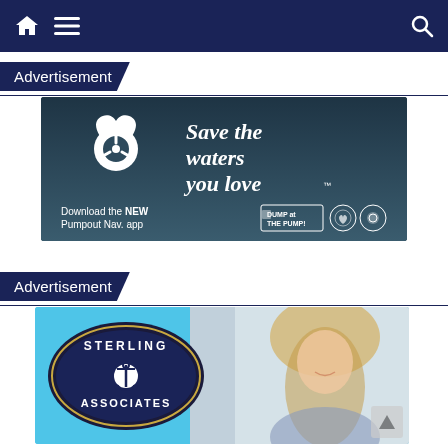Navigation bar with home icon, menu icon, and search icon
Advertisement
[Figure (photo): Save the waters you love advertisement. Dark teal/blue background showing a white heart/steering wheel logo and white script text reading 'Save the waters you love'. Below: 'Download the NEW Pumpout Nav. app' with DUMP at the PUMP logo and certification icons.]
Advertisement
[Figure (photo): Sterling Associates real estate advertisement. Light blue background featuring an oval navy logo with anchor reading 'Sterling Associates', and a photo of a smiling blonde woman on the right side.]